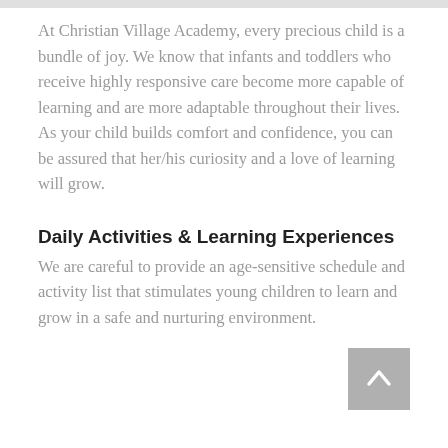At Christian Village Academy, every precious child is a bundle of joy. We know that infants and toddlers who receive highly responsive care become more capable of learning and are more adaptable throughout their lives. As your child builds comfort and confidence, you can be assured that her/his curiosity and a love of learning will grow.
Daily Activities & Learning Experiences
We are careful to provide an age-sensitive schedule and activity list that stimulates young children to learn and grow in a safe and nurturing environment.